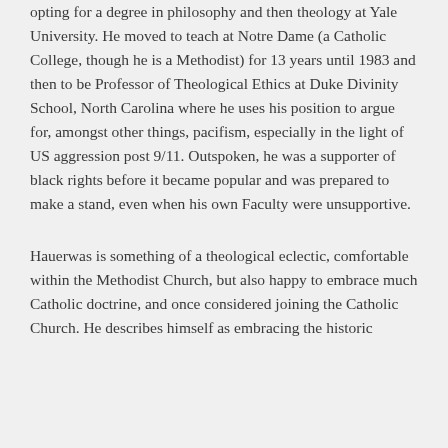opting for a degree in philosophy and then theology at Yale University. He moved to teach at Notre Dame (a Catholic College, though he is a Methodist) for 13 years until 1983 and then to be Professor of Theological Ethics at Duke Divinity School, North Carolina where he uses his position to argue for, amongst other things, pacifism, especially in the light of US aggression post 9/11. Outspoken, he was a supporter of black rights before it became popular and was prepared to make a stand, even when his own Faculty were unsupportive.
Hauerwas is something of a theological eclectic, comfortable within the Methodist Church, but also happy to embrace much Catholic doctrine, and once considered joining the Catholic Church. He describes himself as embracing the historic